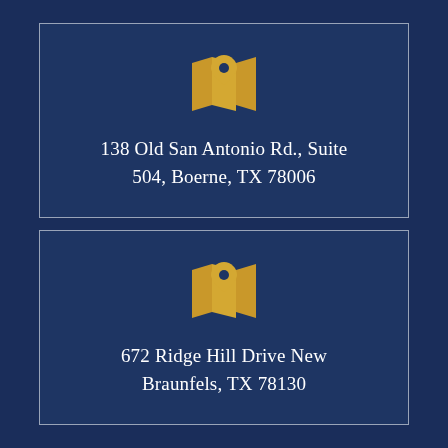[Figure (illustration): Gold map/location pin icon on dark navy background]
138 Old San Antonio Rd., Suite 504, Boerne, TX 78006
[Figure (illustration): Gold map/location pin icon on dark navy background]
672 Ridge Hill Drive New Braunfels, TX 78130